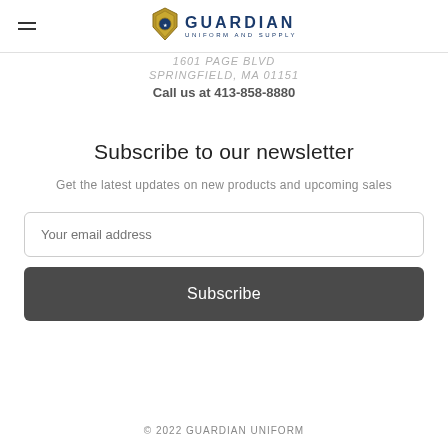[Figure (logo): Guardian Uniform and Supply logo with badge icon and company name]
1601 PAGE BLVD
SPRINGFIELD, MA 01151
Call us at 413-858-8880
Subscribe to our newsletter
Get the latest updates on new products and upcoming sales
© 2022 GUARDIAN UNIFORM